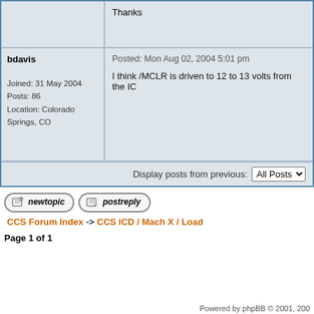Thanks
bdavis
Posted: Mon Aug 02, 2004 5:01 pm
Joined: 31 May 2004
Posts: 86
Location: Colorado Springs, CO
I think /MCLR is driven to 12 to 13 volts from the IC...
Display posts from previous: All Posts
CCS Forum Index -> CCS ICD / Mach X / Load...
Page 1 of 1
Powered by phpBB © 2001, 200...